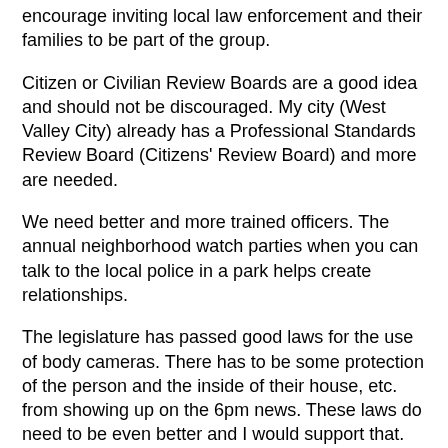encourage inviting local law enforcement and their families to be part of the group.
Citizen or Civilian Review Boards are a good idea and should not be discouraged. My city (West Valley City) already has a Professional Standards Review Board (Citizens' Review Board) and more are needed.
We need better and more trained officers. The annual neighborhood watch parties when you can talk to the local police in a park helps create relationships.
The legislature has passed good laws for the use of body cameras. There has to be some protection of the person and the inside of their house, etc. from showing up on the 6pm news. These laws do need to be even better and I would support that.
Understanding how to deal with mental health issues in a non violent manor is key. New funding to provide for others, besides the police to help is needed.